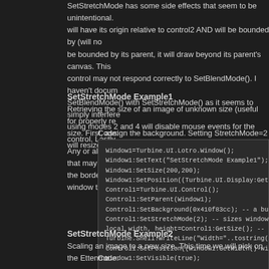SetStretchMode has some side effects that seem to be unintentional. will have its origin relative to control2 AND will be bounded by (will not be bounded by its parent, it will draw beyond its parent's canvas. This control may not respond correctly to SetBlendMode(). I haven't docum SetBlendMode() with SetStretchMode() as it seems to simply interfere using modes 2 and 4 will disable mouse events for the control. Lastly, Any or all of these side effects may be accidental glitches that may be the border and titlebar graphics so if you want the entire window to str
SetStretchMode Example1
Retrieving the size of an image of unknown size (useful for properly re size. First, assign the background. Setting StretchMode=2 will resize t
Code:
[Figure (screenshot): Code block showing Lua/UI scripting code for SetStretchMode Example1]
SetStretchMode Example2
Scaling an image to a new size. This time we will pick on the Ettenmo
Code: